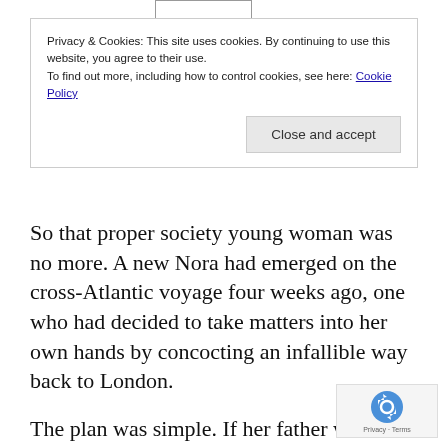Privacy & Cookies: This site uses cookies. By continuing to use this website, you agree to their use.
To find out more, including how to control cookies, see here: Cookie Policy
Close and accept
So that proper society young woman was no more. A new Nora had emerged on the cross-Atlantic voyage four weeks ago, one who had decided to take matters into her own hands by concocting an infallible way back to London.
The plan was simple. If her father wanted her to find a husband, she'd find the most outrageous man in New York, a fiancé noteworthy and unsuitable enough to land in the papers. An actor? A politician? She hadn't quite settled on...